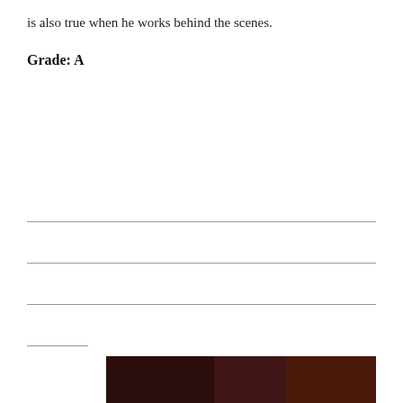is also true when he works behind the scenes.
Grade: A
[Figure (photo): Portrait photo of a middle-aged man with wavy silver-blond hair, wearing a dark shirt, against a dark reddish-brown background. Watermark reads 'DALLAS DECODER' in the bottom right corner.]